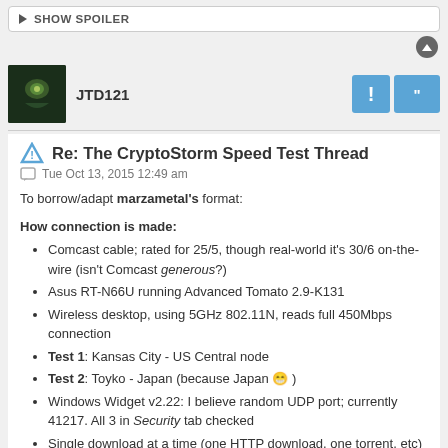▶ SHOW SPOILER
JTD121
Re: The CryptoStorm Speed Test Thread
Tue Oct 13, 2015 12:49 am
To borrow/adapt marzametal's format:
How connection is made:
Comcast cable; rated for 25/5, though real-world it's 30/6 on-the-wire (isn't Comcast generous?)
Asus RT-N66U running Advanced Tomato 2.9-K131
Wireless desktop, using 5GHz 802.11N, reads full 450Mbps connection
Test 1: Kansas City - US Central node
Test 2: Toyko - Japan (because Japan 😄 )
Windows Widget v2.22: I believe random UDP port; currently 41217. All 3 in Security tab checked
Single download at a time (one HTTP download, one torrent, etc)
Download methods: Linux Mint 17.2 Cinnamon 64-bit (using KB = kilobyte, kb= kilobit as reported by software)